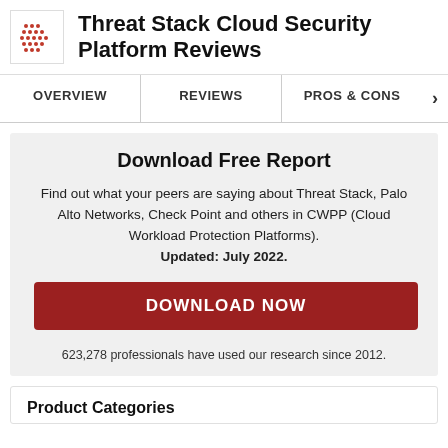Threat Stack Cloud Security Platform Reviews
Download Free Report
Find out what your peers are saying about Threat Stack, Palo Alto Networks, Check Point and others in CWPP (Cloud Workload Protection Platforms). Updated: July 2022.
DOWNLOAD NOW
623,278 professionals have used our research since 2012.
Product Categories